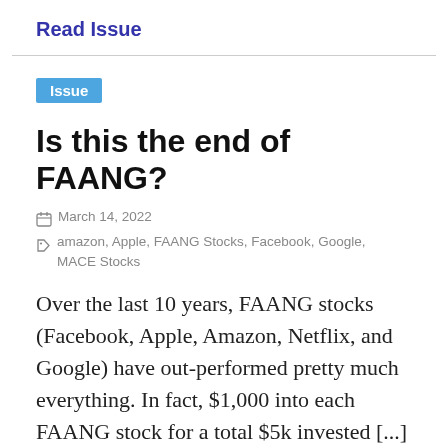Read Issue
Issue
Is this the end of FAANG?
March 14, 2022
amazon, Apple, FAANG Stocks, Facebook, Google, MACE Stocks
Over the last 10 years, FAANG stocks (Facebook, Apple, Amazon, Netflix, and Google) have out-performed pretty much everything. In fact, $1,000 into each FAANG stock for a total $5k invested [...]